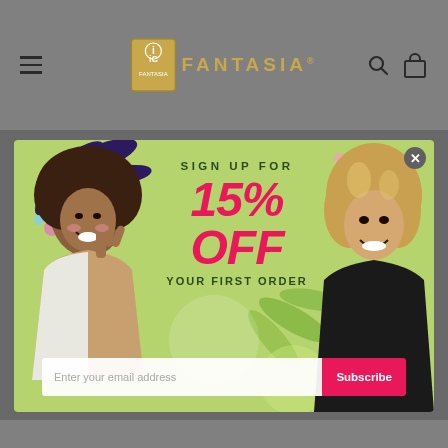iC FANTASIA® — navigation bar with hamburger menu, logo, search and cart icons
[Figure (screenshot): Popup modal for IC Fantasia hair care brand. Green background with botanical illustrations, two women with natural curly hair. Text reads: SIGN UP FOR 15% OFF YOUR FIRST ORDER. Email input field with Subscribe button.]